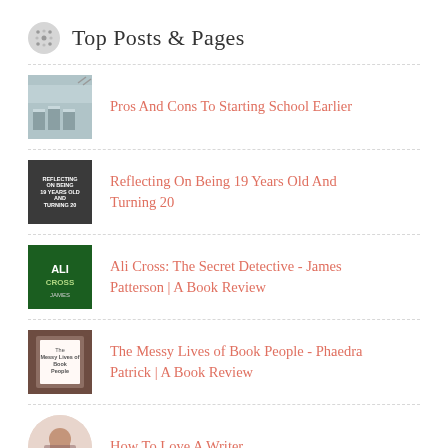Top Posts & Pages
Pros And Cons To Starting School Earlier
Reflecting On Being 19 Years Old And Turning 20
Ali Cross: The Secret Detective - James Patterson | A Book Review
The Messy Lives of Book People - Phaedra Patrick | A Book Review
How To Love A Writer